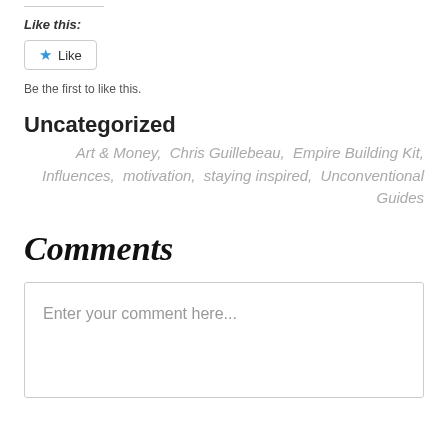Like this:
[Figure (other): Like button with blue star icon and 'Like' text]
Be the first to like this.
Uncategorized
Art & Money,  Chris Guillebeau,  Empire Building Kit,  Influences,  motivation,  staying inspired,  Unconventional Guides
Comments
Enter your comment here...